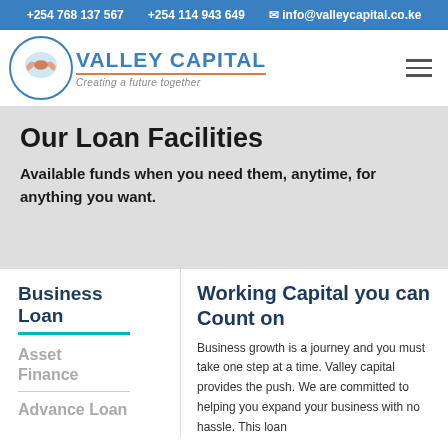+254 768 137 567   +254 114 943 649   info@valleycapital.co.ke
[Figure (logo): Valley Capital logo with circular handshake icon, company name in blue uppercase letters, tagline 'Creating a future together' in grey italic]
Our Loan Facilities
Available funds when you need them, anytime, for anything you want.
Business Loan
Asset Finance
Advance Loan
Working Capital you can Count on
Business growth is a journey and you must take one step at a time. Valley capital provides the push. We are committed to helping you expand your business with no hassle. This loan